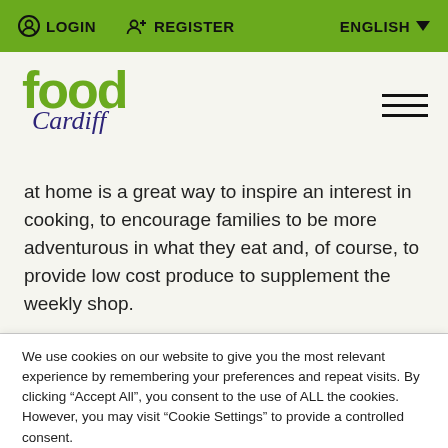LOGIN   REGISTER   ENGLISH
[Figure (logo): Food Cardiff logo: 'food' in large green bold text, 'Cardiff' in purple italic cursive below]
at home is a great way to inspire an interest in cooking, to encourage families to be more adventurous in what they eat and, of course, to provide low cost produce to supplement the weekly shop.
We use cookies on our website to give you the most relevant experience by remembering your preferences and repeat visits. By clicking "Accept All", you consent to the use of ALL the cookies. However, you may visit "Cookie Settings" to provide a controlled consent.